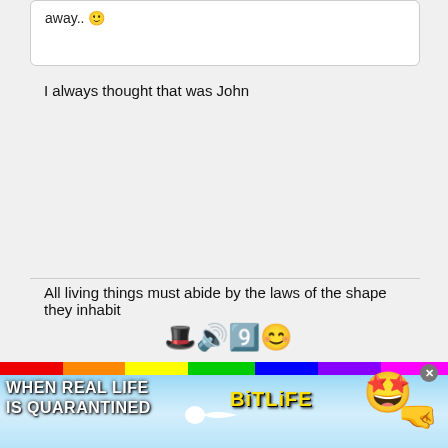away.. 🙂
I always thought that was John
All living things must abide by the laws of the shape they inhabit
[Figure (screenshot): Forum post by user meanmistermustard with avatar photo of The Beatles, location 'Thankfully not where I am.', Posts: 24668, date 22 October 2015 - 4.17pm, moderator badge]
[Figure (photo): BitLife advertisement banner: WHEN REAL LIFE IS QUARANTINED with rainbow stripe, BitLife logo, and game mascot character]